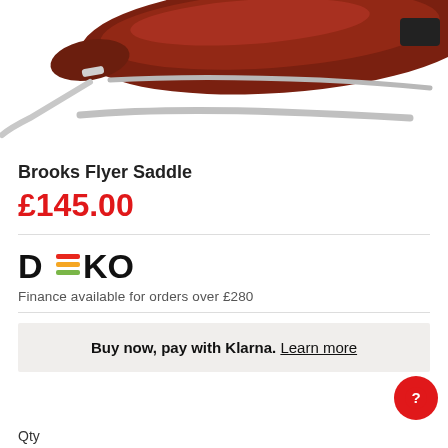[Figure (photo): Product photo of a Brooks Flyer leather bicycle saddle with metal rails, partially cropped at top of page]
Brooks Flyer Saddle
£145.00
[Figure (logo): DEKO logo with colored horizontal bars replacing the letter E]
Finance available for orders over £280
Buy now, pay with Klarna. Learn more
Qty